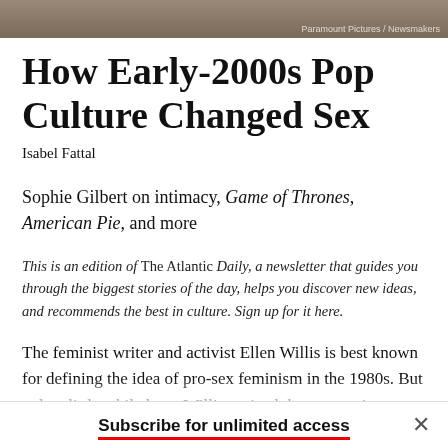[Figure (photo): Partial photo strip at top of page]
How Early-2000s Pop Culture Changed Sex
Isabel Fattal
Sophie Gilbert on intimacy, Game of Thrones, American Pie, and more
This is an edition of The Atlantic Daily, a newsletter that guides you through the biggest stories of the day, helps you discover new ideas, and recommends the best in culture. Sign up for it here.
The feminist writer and activist Ellen Willis is best known for defining the idea of pro-sex feminism in the 1980s. But only a little while later, Willis noticed that women's liberated
Subscribe for unlimited access